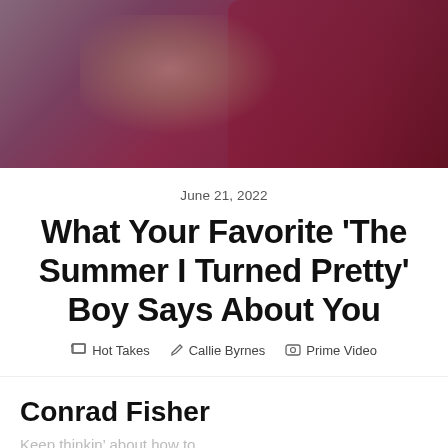[Figure (photo): Two people, one in a maroon/dark red shirt, with hands clasped together in an intimate pose; dark moody background.]
June 21, 2022
What Your Favorite ‘The Summer I Turned Pretty’ Boy Says About You
Hot Takes  Callie Byrnes  Prime Video
Conrad Fisher
Keep thinkin’ about how to...